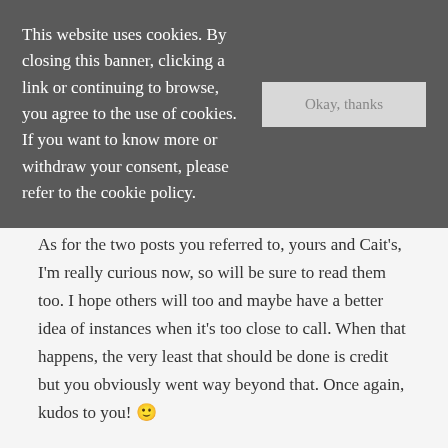This website uses cookies. By closing this banner, clicking a link or continuing to browse, you agree to the use of cookies. If you want to know more or withdraw your consent, please refer to the cookie policy.
Okay, thanks
As for the two posts you referred to, yours and Cait's, I'm really curious now, so will be sure to read them too. I hope others will too and maybe have a better idea of instances when it's too close to call. When that happens, the very least that should be done is credit but you obviously went way beyond that. Once again, kudos to you! 🙂
Joséphine @ Word Revel recently posted: I Got a DSLR â•• Now What?
march 9, 2016, 2:57 am
Reply